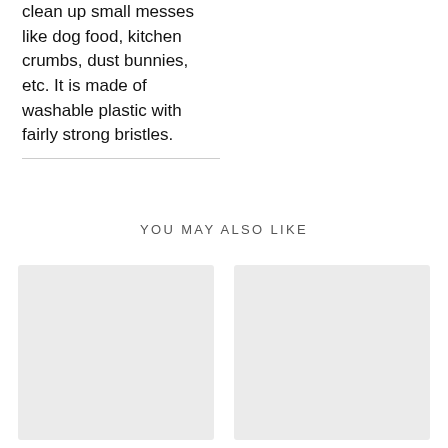clean up small messes like dog food, kitchen crumbs, dust bunnies, etc. It is made of washable plastic with fairly strong bristles.
YOU MAY ALSO LIKE
[Figure (photo): Product image placeholder (light gray rectangle)]
[Figure (photo): Product image placeholder (light gray rectangle)]